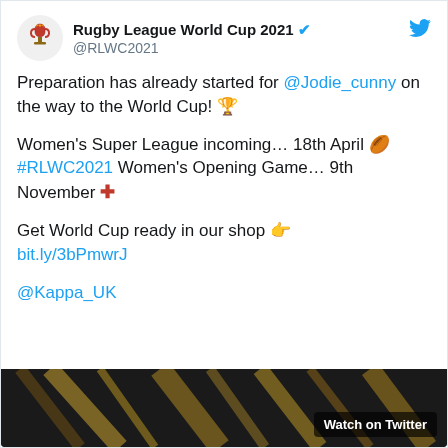Rugby League World Cup 2021 @RLWC2021
Preparation has already started for @Jodie_cunny on the way to the World Cup! 🏆
Women's Super League incoming… 18th April 🏉
#RLWC2021 Women's Opening Game… 9th November 🏴󠁧󠁢󠁥󠁮󠁧󠁿
Get World Cup ready in our shop 👉
bit.ly/3bPmwrJ
@Kappa_UK
[Figure (screenshot): Dark video preview thumbnail with diagonal light streaks and a 'Watch on Twitter' button overlay in the bottom right]